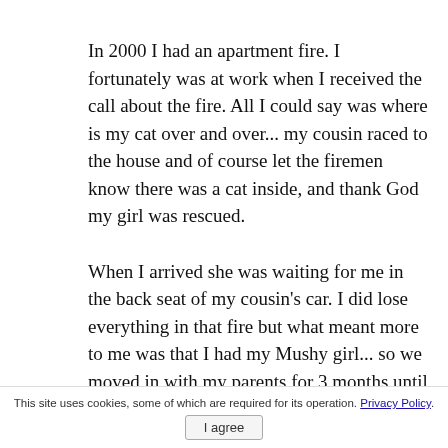In 2000 I had an apartment fire. I fortunately was at work when I received the call about the fire. All I could say was where is my cat over and over... my cousin raced to the house and of course let the firemen know there was a cat inside, and thank God my girl was rescued.
When I arrived she was waiting for me in the back seat of my cousin's car. I did lose everything in that fire but what meant more to me was that I had my Mushy girl... so we moved in with my parents for 3 months until I got another apartment!
This site uses cookies, some of which are required for its operation. Privacy Policy. I agree